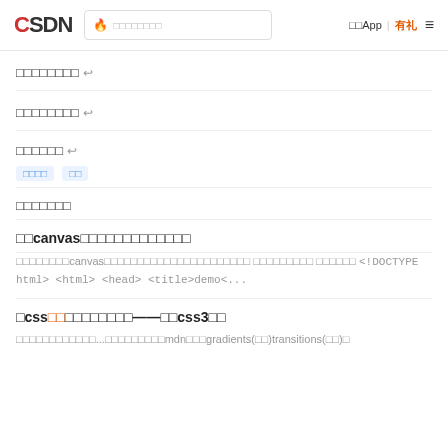CSDN | 搜索 | 下载App | 有礼
□□□□□□□□ ↩
□□□□□□□□ ↩
□□□□□□ ↩
tags: □□□□ □□
□□□□□□□
□□canvas□□□□□□□□□□□□□
□□□□□□□□canvas□□□□□□□□□□□□□□□□□□□□□□ □□□□□□□□□ □□□□□□ <!DOCTYPE html> <html> <head> <title>demo<...
□css□□□□□□□□□□——□□css3□□
□□□□□□□□□□□□...□□□□□□□□□mdn□□□gradients(□□)transitions(□□)□